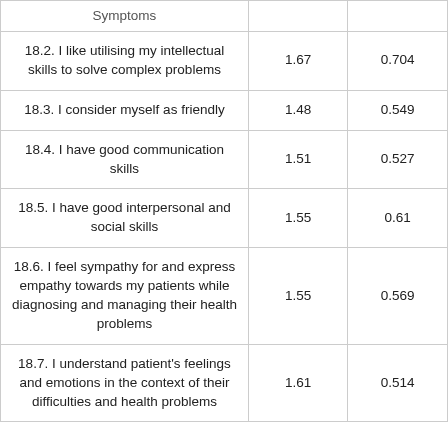| Symptoms |  |  |
| --- | --- | --- |
| 18.2. I like utilising my intellectual skills to solve complex problems | 1.67 | 0.704 |
| 18.3. I consider myself as friendly | 1.48 | 0.549 |
| 18.4. I have good communication skills | 1.51 | 0.527 |
| 18.5. I have good interpersonal and social skills | 1.55 | 0.61 |
| 18.6. I feel sympathy for and express empathy towards my patients while diagnosing and managing their health problems | 1.55 | 0.569 |
| 18.7. I understand patient's feelings and emotions in the context of their difficulties and health problems | 1.61 | 0.514 |